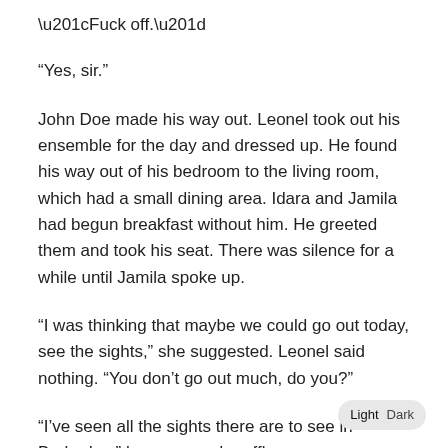“Fuck off.”
“Yes, sir.”
John Doe made his way out. Leonel took out his ensemble for the day and dressed up. He found his way out of his bedroom to the living room, which had a small dining area. Idara and Jamila had begun breakfast without him. He greeted them and took his seat. There was silence for a while until Jamila spoke up.
“I was thinking that maybe we could go out today, see the sights,” she suggested. Leonel said nothing. “You don’t go out much, do you?”
“I’ve seen all the sights there are to see in Barbados,” he answered gruffly.